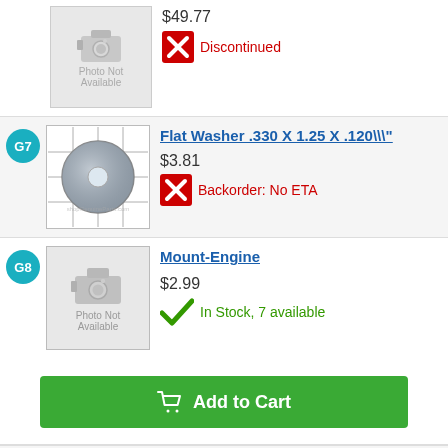[Figure (photo): Photo Not Available placeholder image for top partial product row]
$49.77
✗ Discontinued
G7
[Figure (photo): Photo of a flat washer on a grid background]
Flat Washer .330 X 1.25 X .120\\"
$3.81
✗ Backorder: No ETA
G8
[Figure (photo): Photo Not Available placeholder image for Mount-Engine]
Mount-Engine
$2.99
✓ In Stock, 7 available
Add to Cart
G10
[Figure (photo): Partial photo/placeholder for Screw-Hex Slf-Tap product]
Screw-Hex, Slf-Tap